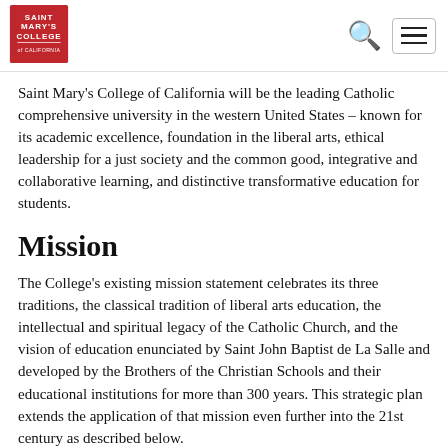Saint Mary's College of California — Navigation header with logo, search icon, and hamburger menu
Saint Mary's College of California will be the leading Catholic comprehensive university in the western United States – known for its academic excellence, foundation in the liberal arts, ethical leadership for a just society and the common good, integrative and collaborative learning, and distinctive transformative education for students.
Mission
The College's existing mission statement celebrates its three traditions, the classical tradition of liberal arts education, the intellectual and spiritual legacy of the Catholic Church, and the vision of education enunciated by Saint John Baptist de La Salle and developed by the Brothers of the Christian Schools and their educational institutions for more than 300 years. This strategic plan extends the application of that mission even further into the 21st century as described below.